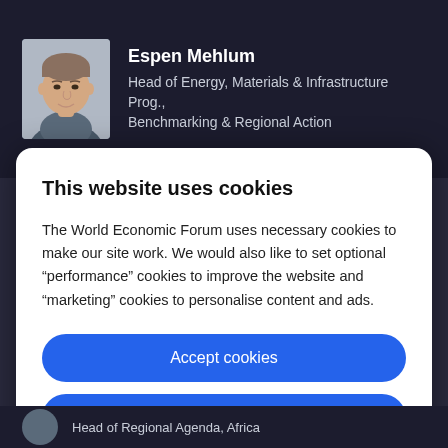[Figure (photo): Profile photo of Espen Mehlum, a man with short hair, smiling, against a light background]
Espen Mehlum
Head of Energy, Materials & Infrastructure Prog., Benchmarking & Regional Action
This website uses cookies
The World Economic Forum uses necessary cookies to make our site work. We would also like to set optional “performance” cookies to improve the website and “marketing” cookies to personalise content and ads.
Accept cookies
Reject cookies
Cookie settings
Head of Regional Agenda, Africa